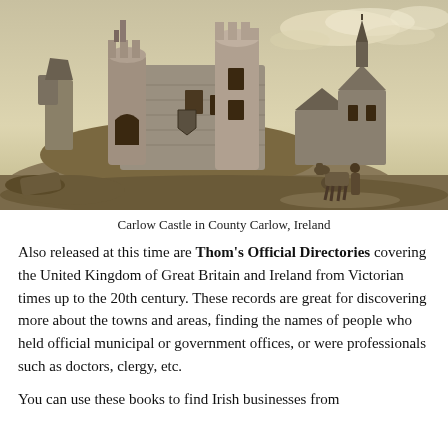[Figure (illustration): Engraving of Carlow Castle in County Carlow, Ireland — a medieval stone castle ruin with round towers, a church and buildings to the right, rocky terrain, and a figure with a horse in the foreground.]
Carlow Castle in County Carlow, Ireland
Also released at this time are Thom's Official Directories covering the United Kingdom of Great Britain and Ireland from Victorian times up to the 20th century. These records are great for discovering more about the towns and areas, finding the names of people who held official municipal or government offices, or were professionals such as doctors, clergy, etc.
You can use these books to find Irish businesses from